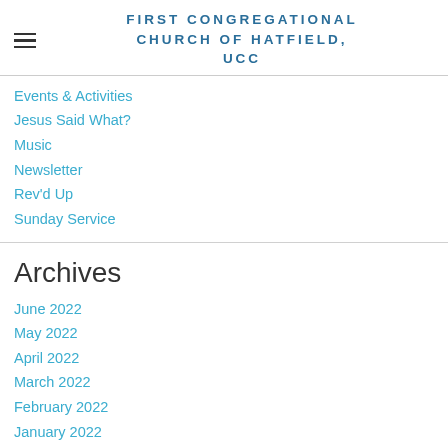FIRST CONGREGATIONAL CHURCH of HATFIELD, UCC
Events & Activities
Jesus Said What?
Music
Newsletter
Rev'd Up
Sunday Service
Archives
June 2022
May 2022
April 2022
March 2022
February 2022
January 2022
December 2021